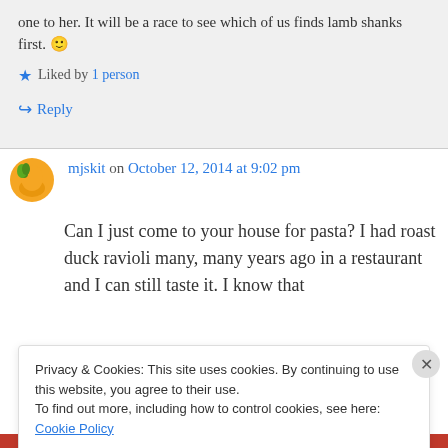one to her. It will be a race to see which of us finds lamb shanks first. 🙂
Liked by 1 person
Reply
mjskit on October 12, 2014 at 9:02 pm
Can I just come to your house for pasta? I had roast duck ravioli many, many years ago in a restaurant and I can still taste it. I know that
Privacy & Cookies: This site uses cookies. By continuing to use this website, you agree to their use.
To find out more, including how to control cookies, see here: Cookie Policy
Close and accept